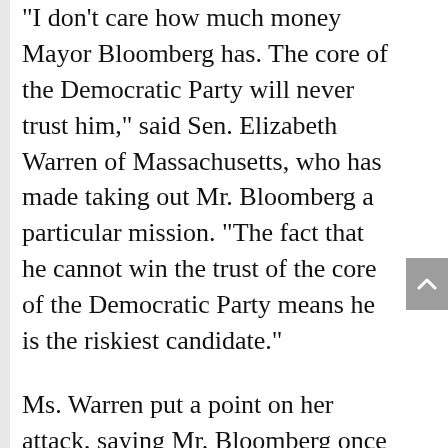“I don’t care how much money Mayor Bloomberg has. The core of the Democratic Party will never trust him,” said Sen. Elizabeth Warren of Massachusetts, who has made taking out Mr. Bloomberg a particular mission. “The fact that he cannot win the trust of the core of the Democratic Party means he is the riskiest candidate.”
Ms. Warren put a point on her attack, saying Mr. Bloomberg once told a female employee to get an abortion.
Mr. Bloomberg heatedly denied that and the content of his time first at M...